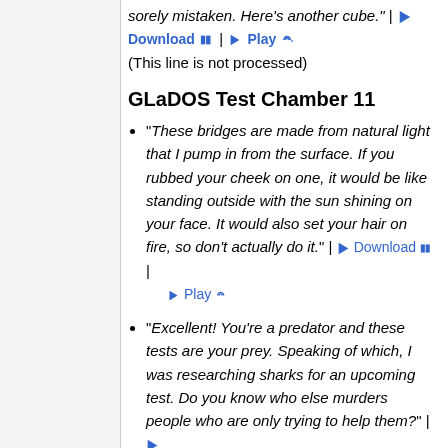sorely mistaken. Here's another cube." | Download | Play
(This line is not processed)
GLaDOS Test Chamber 11
"These bridges are made from natural light that I pump in from the surface. If you rubbed your cheek on one, it would be like standing outside with the sun shining on your face. It would also set your hair on fire, so don't actually do it." | Download | Play
"Excellent! You're a predator and these tests are your prey. Speaking of which, I was researching sharks for an upcoming test. Do you know who else murders people who are only trying to help them?" | Download | Play
"Did you guess 'sharks'? Because